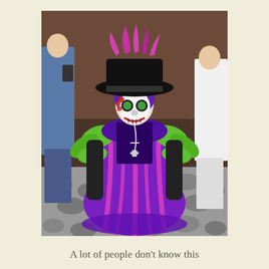[Figure (photo): A young child dressed in an elaborate Day of the Dead (Día de los Muertos) costume. The child wears a large black wide-brimmed hat decorated with pink feathers, a purple and pink ornate dress with green leaf/ribbon decorations at the shoulders, skull face paint, and a cross necklace. The child stands on a cobblestone street with adults visible in the background.]
A lot of people don't know this